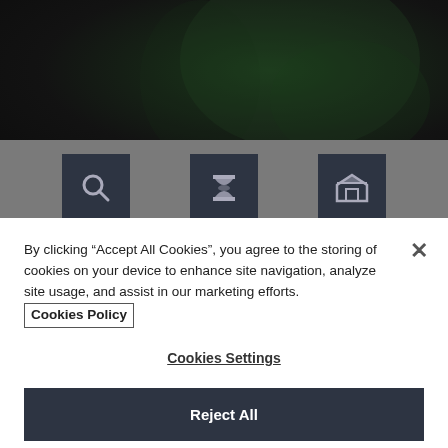[Figure (screenshot): Dark background with faint leaf/plant imagery]
[Figure (infographic): Three icon boxes on grey background: magnifying glass (CODE), hourglass (DELIVERY), graduation cap/home (LEVEL)]
By clicking “Accept All Cookies”, you agree to the storing of cookies on your device to enhance site navigation, analyze site usage, and assist in our marketing efforts.
Cookies Policy
Cookies Settings
Reject All
Accept All Cookies